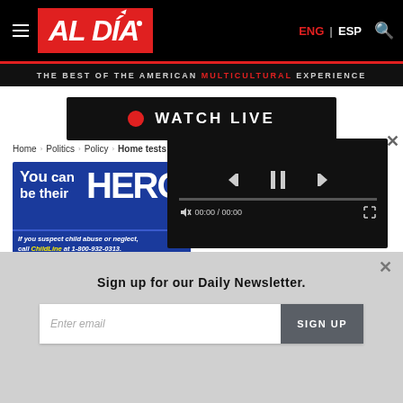AL DÍA — THE BEST OF THE AMERICAN MULTICULTURAL EXPERIENCE
WATCH LIVE
Home › Politics › Policy › Home tests philly
[Figure (screenshot): Advertisement banner: 'You can be their HERO. If you suspect child abuse or neglect, call ChildLine at 1-800-932-0313.']
[Figure (screenshot): Embedded video player with playback controls showing 00:00 / 00:00]
Sign up for our Daily Newsletter.
Enter email | SIGN UP